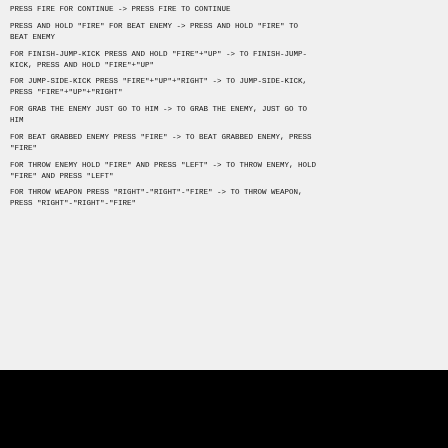PRESS FIRE FOR CONTINUE -> PRESS FIRE TO CONTINUE
PRESS AND HOLD "FIRE" FOR BEAT ENEMY -> PRESS AND HOLD "FIRE" TO BEAT ENEMY
FOR FINISH-JUMP-KICK PRESS AND HOLD "FIRE"+"UP" -> TO FINISH-JUMP-KICK, PRESS AND HOLD "FIRE"+"UP"
FOR JUMP-SIDE-KICK PRESS "FIRE"+"UP"+"RIGHT" -> TO JUMP-SIDE-KICK, PRESS "FIRE"+"UP"+"RIGHT"
FOR GRAB THE ENEMY JUST GO TO HIM -> TO GRAB THE ENEMY, JUST GO TO HIM
FOR BEAT GRABBED ENEMY PRESS "FIRE" -> TO BEAT GRABBED ENEMY, PRESS "FIRE"
FOR THROW ENEMY HOLD "FIRE" AND PRESS "LEFT" -> TO THROW ENEMY, HOLD "FIRE" AND PRESS "LEFT"
FOR THROW WEAPON PRESS "RIGHT"-"RIGHT"-"FIRE" -> TO THROW WEAPON, PRESS "RIGHT"-"RIGHT"-"FIRE"